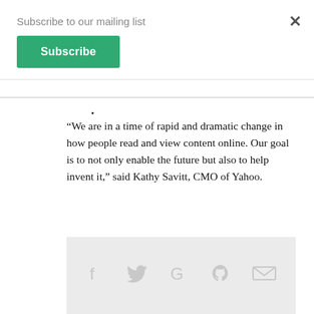Subscribe to our mailing list
Subscribe
“We are in a time of rapid and dramatic change in how people read and view content online. Our goal is to not only enable the future but also to help invent it,” said Kathy Savitt, CMO of Yahoo.
★ Add to Watchlist
TAGS  Yahoo Screen  Yahoo!
[Figure (infographic): Social sharing bar with icons for Facebook, Twitter, Google+, Pinterest, and email in light grey on a light grey background]